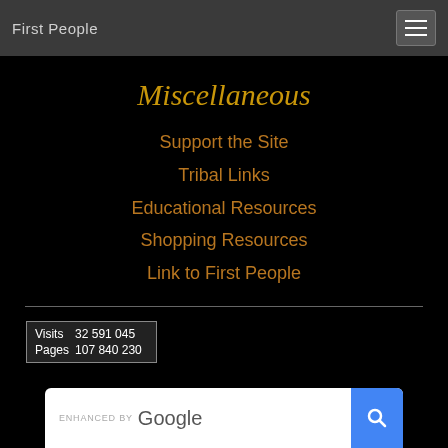First People
Miscellaneous
Support the Site
Tribal Links
Educational Resources
Shopping Resources
Link to First People
| Label | Value |
| --- | --- |
| Visits | 32 591 045 |
| Pages | 107 840 230 |
[Figure (screenshot): ENHANCED BY Google search bar with blue search button]